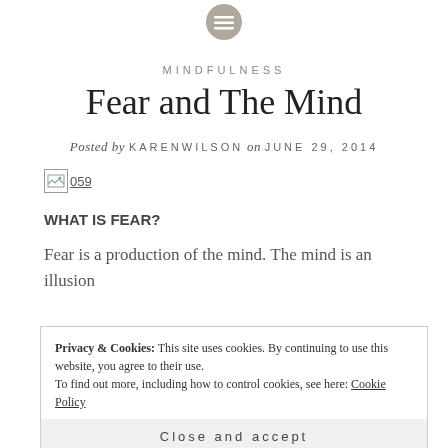[Figure (logo): Circular gray icon with horizontal lines (menu/hamburger icon) at top center]
MINDFULNESS
Fear and The Mind
Posted by KARENWILSON on JUNE 29, 2014
[Figure (illustration): Broken image placeholder labeled '059']
WHAT IS FEAR?
Fear is a production of the mind. The mind is an illusion
Privacy & Cookies: This site uses cookies. By continuing to use this website, you agree to their use.
To find out more, including how to control cookies, see here: Cookie Policy
Close and accept
of the NOW. These thoughts will create improbable